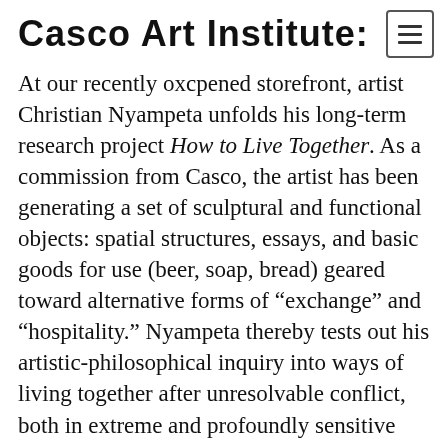Casco Art Institute:
At our recently oxcpened storefront, artist Christian Nyampeta unfolds his long-term research project How to Live Together. As a commission from Casco, the artist has been generating a set of sculptural and functional objects: spatial structures, essays, and basic goods for use (beer, soap, bread) geared toward alternative forms of “exchange” and “hospitality.” Nyampeta thereby tests out his artistic-philosophical inquiry into ways of living together after unresolvable conflict, both in extreme and profoundly sensitive cases such as the Rwandan genocide in 1994, but also in everyday urban contexts where differences in race, class, gender